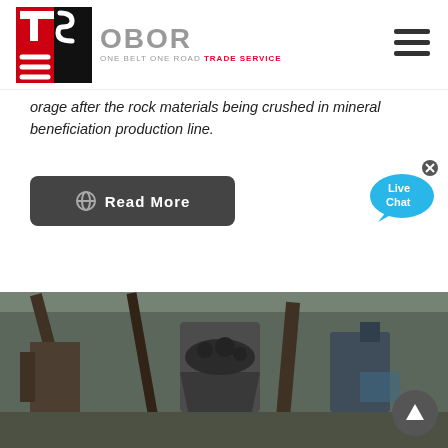[Figure (logo): OBOR Trade Service logo with red and black TS emblem and grey OBOR text with tagline ONE BELT ONE ROAD TRADE SERVICE]
orage after the rock materials being crushed in mineral beneficiation production line.
[Figure (other): Read More button (dark grey rounded rectangle with link icon and text)]
[Figure (other): Live Chat speech bubble widget in blue]
[Figure (photo): Industrial mineral processing/crushing facility with conveyor belts, machinery, and crushed rock materials]